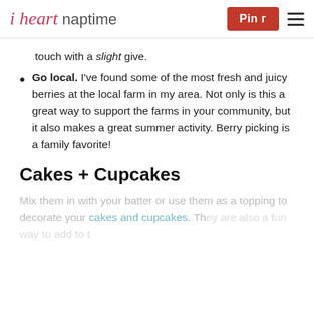i heart naptime | Pin | [hamburger menu]
touch with a slight give.
Go local. I've found some of the most fresh and juicy berries at the local farm in my area. Not only is this a great way to support the farms in your community, but it also makes a great summer activity. Berry picking is a family favorite!
Cakes + Cupcakes
Mix them in with your batter or use them as a topping to decorate your cakes and cupcakes. They are also a fun way to add to...